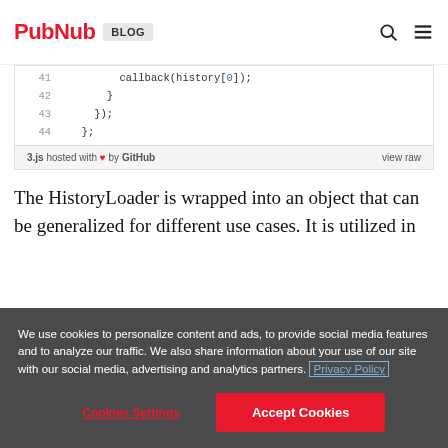PubNub BLOG
[Figure (screenshot): Code block showing lines 41-44: callback(history[0]); }, }); };]
3.js hosted with ♥ by GitHub  view raw
The HistoryLoader is wrapped into an object that can be generalized for different use cases. It is utilized in
We use cookies to personalize content and ads, to provide social media features and to analyze our traffic. We also share information about your use of our site with our social media, advertising and analytics partners. Privacy Policy
Cookies Settings  Accept Cookies